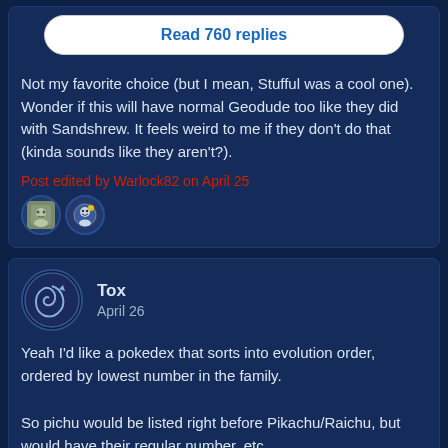Read 760 replies
Not my favorite choice (but I mean, Stufful was a cool one). Wonder if this will have normal Geodude too like they did with Sandshrew. It feels weird to me if they don't do that (kinda sounds like they aren't?).
Post edited by Warlock82 on April 25
[Figure (illustration): Two small reaction/emoji icons showing user reactions to the post]
Tox
April 26
[Figure (illustration): Circular user avatar for Tox showing a stylized spiral/swirl design on dark background]
Yeah I'd like a pokedex that sorts into evolution order, ordered by lowest number in the family.
So pichu would be listed right before Pikachu/Raichu, but would have their regular number, etc